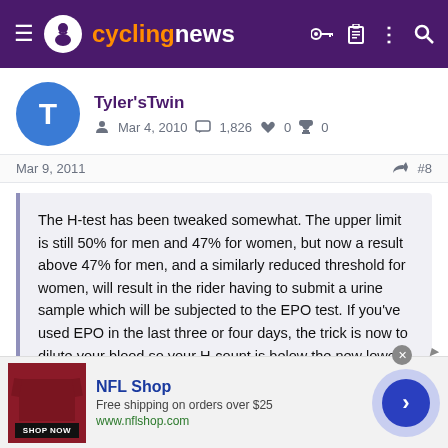cyclingnews
Tyler'sTwin
Mar 4, 2010  1,826  0  0
Mar 9, 2011  #8
The H-test has been tweaked somewhat. The upper limit is still 50% for men and 47% for women, but now a result above 47% for men, and a similarly reduced threshold for women, will result in the rider having to submit a urine sample which will be subjected to the EPO test. If you've used EPO in the last three or four days, the trick is now to dilute your blood so your H-count is below the new lower threshold that triggers an automatic EPO test.
[Figure (infographic): NFL Shop advertisement banner with maroon jersey image, Shop Now button, NFL Shop title, free shipping text, and www.nflshop.com URL]